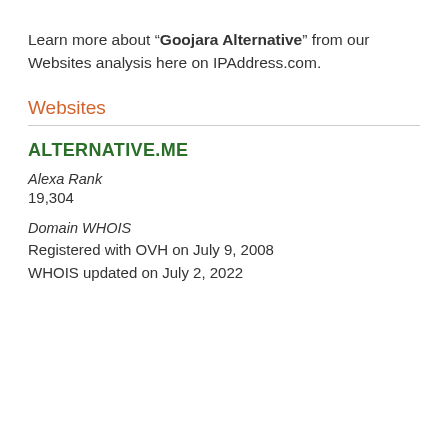Learn more about “Goojara Alternative” from our Websites analysis here on IPAddress.com.
Websites
ALTERNATIVE.ME
Alexa Rank
19,304
Domain WHOIS
Registered with OVH on July 9, 2008
WHOIS updated on July 2, 2022